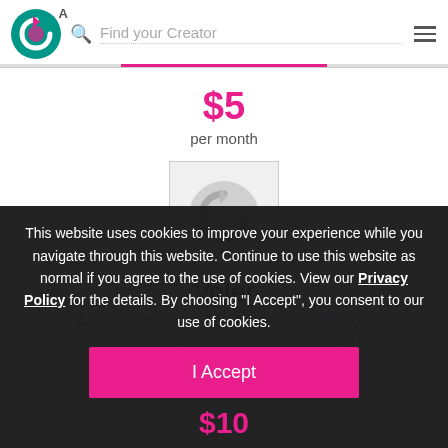SubscribeStar — Find your Creator
$5 per month
[Figure (logo): SubscribeStar circular logo placeholder (grey)]
Voter
30 days   0 subscribers   SubscribeStar $5.00 tier
This website uses cookies to improve your experience while you navigate through this website. Continue to use this website as normal if you agree to the use of cookies. View our Privacy Policy for the details. By choosing "I Accept", you consent to our use of cookies.
I Accept
$10